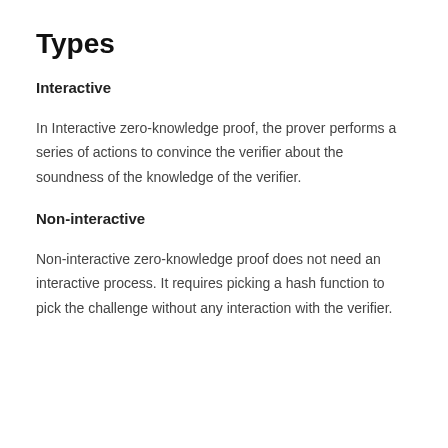Types
Interactive
In Interactive zero-knowledge proof, the prover performs a series of actions to convince the verifier about the soundness of the knowledge of the verifier.
Non-interactive
Non-interactive zero-knowledge proof does not need an interactive process. It requires picking a hash function to pick the challenge without any interaction with the verifier.